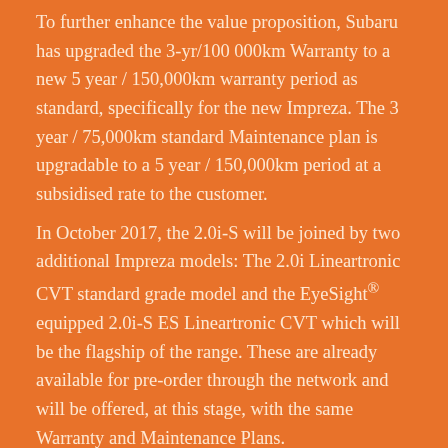To further enhance the value proposition, Subaru has upgraded the 3-yr/100 000km Warranty to a new 5 year / 150,000km warranty period as standard, specifically for the new Impreza. The 3 year / 75,000km standard Maintenance plan is upgradable to a 5 year / 150,000km period at a subsidised rate to the customer.
In October 2017, the 2.0i-S will be joined by two additional Impreza models: The 2.0i Lineartronic CVT standard grade model and the EyeSight® equipped 2.0i-S ES Lineartronic CVT which will be the flagship of the range. These are already available for pre-order through the network and will be offered, at this stage, with the same Warranty and Maintenance Plans.
Pricing is to be confirmed closer to October.